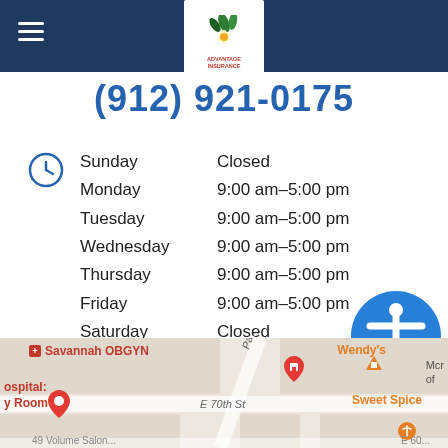Advantage Insurance — navigation header with hamburger menu and logo
(912) 921-0175
| Day | Hours |
| --- | --- |
| Sunday | Closed |
| Monday | 9:00 am–5:00 pm |
| Tuesday | 9:00 am–5:00 pm |
| Wednesday | 9:00 am–5:00 pm |
| Thursday | 9:00 am–5:00 pm |
| Friday | 9:00 am–5:00 pm |
| Saturday | Closed |
Privacy Policy
[Figure (map): Google Maps embed showing location near Savannah OBGYN, E 70th St, with Sweet Spice and Wendy's nearby]